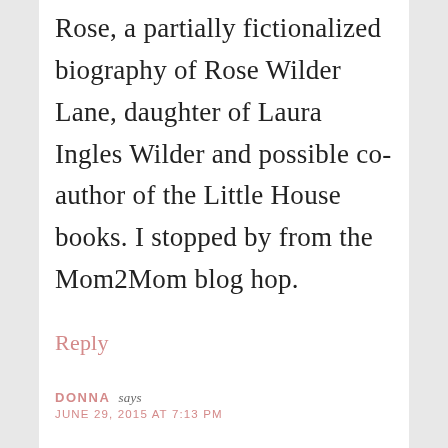Rose, a partially fictionalized biography of Rose Wilder Lane, daughter of Laura Ingles Wilder and possible co-author of the Little House books. I stopped by from the Mom2Mom blog hop.
Reply
DONNA says
JUNE 29, 2015 AT 7:13 PM